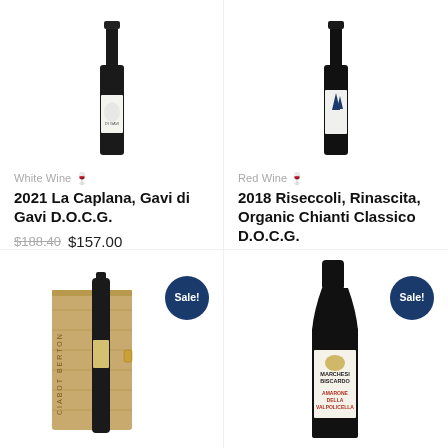[Figure (photo): White wine bottle of La Caplana Gavi di Gavi with illustrated label]
White Wine 🍷
2021 La Caplana, Gavi di Gavi D.O.C.G.
$188.40 $157.00
[Figure (photo): Red wine bottle of Riseccoli Rinascita Organic Chianti Classico with blue cypress label]
Red Wine 🍷
2018 Riseccoli, Rinascita, Organic Chianti Classico D.O.C.G.
$243.60 $203.00
[Figure (photo): Wine bottle in wooden gift box, Ciabot Berton label, Sale badge]
[Figure (photo): Marchesi Biscardo Amarone della Valpolicella red wine bottle with label, Sale badge]